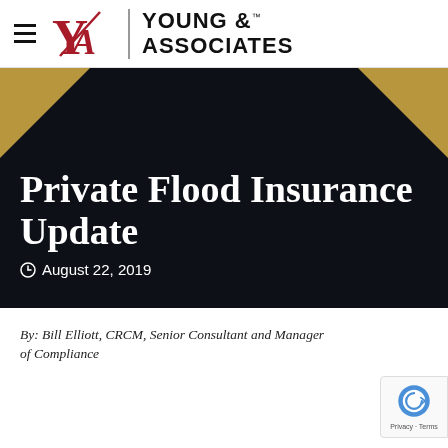[Figure (logo): Young & Associates logo with hamburger menu, YA monogram in red, vertical divider, and YOUNG & ASSOCIATES text]
[Figure (illustration): Dark hero banner with gold triangle decorations in top-left and top-right corners, black background]
Private Flood Insurance Update
August 22, 2019
By: Bill Elliott, CRCM, Senior Consultant and Manager of Compliance